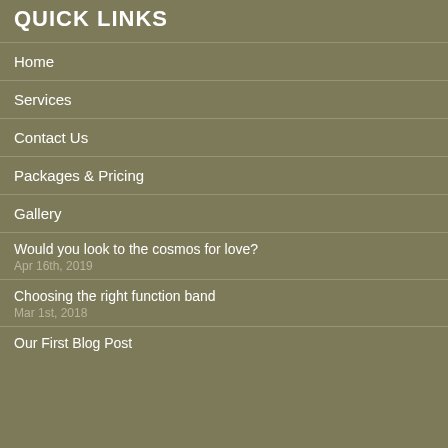QUICK LINKS
Home
Services
Contact Us
Packages & Pricing
Gallery
Would you look to the cosmos for love?
Apr 16th, 2019
Choosing the right function band
Mar 1st, 2018
Our First Blog Post